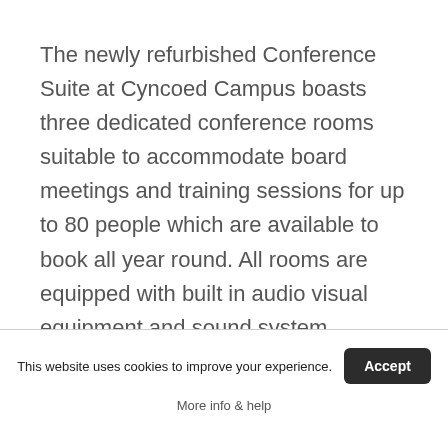The newly refurbished Conference Suite at Cyncoed Campus boasts three dedicated conference rooms suitable to accommodate board meetings and training sessions for up to 80 people which are available to book all year round. All rooms are equipped with built in audio visual equipment and sound system.
[Figure (photo): Two photographs of conference room interiors side by side, partially visible at the bottom of the page. Left image shows ceiling with recessed lighting. Right image shows a room with a projection screen.]
This website uses cookies to improve your experience.
Accept
More info & help